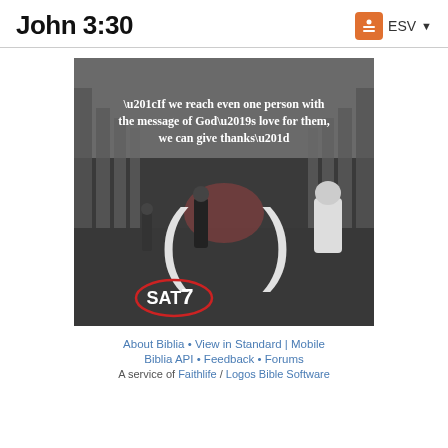John 3:30
[Figure (photo): Photograph of people walking in an open courtyard/street with pillared architecture. Overlaid white text reads: “If we reach even one person with the message of God’s love for them, we can give thanks”. Large parenthesis symbols and SAT7 logo are overlaid.]
About Biblia • View in Standard | Mobile
Biblia API • Feedback • Forums
A service of Faithlife / Logos Bible Software